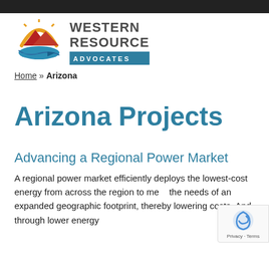[Figure (logo): Western Resource Advocates logo with mountain, sun arc, and river in orange, red, and blue colors, with organization name in dark gray and 'ADVOCATES' in white on teal background]
Home » Arizona
Arizona Projects
Advancing a Regional Power Market
A regional power market efficiently deploys the lowest-cost energy from across the region to meet the needs of an expanded geographic footprint, thereby lowering costs. And, through lower energy